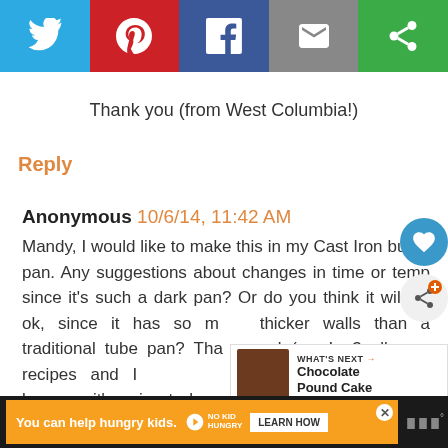[Figure (screenshot): Social share bar with Twitter, Pinterest, Facebook, Email, and Share icons]
Thank you (from West Columbia!)
Reply
Anonymous 10/6/14, 11:42 AM
Mandy, I would like to make this in my Cast Iron bundt pan. Any suggestions about changes in time or temp since it's such a dark pan? Or do you think it will be ok, since it has so much thicker walls than a traditional tube pan? Thank you! (ps. I <3 all your recipes and I ... Thanksgiving because it's going to be... "South Your Mouth" food this year!)
[Figure (screenshot): What's Next promotional widget showing Chocolate Pound Cake]
[Figure (screenshot): Ad bar: You can help hungry kids. No Kid Hungry. Learn How.]